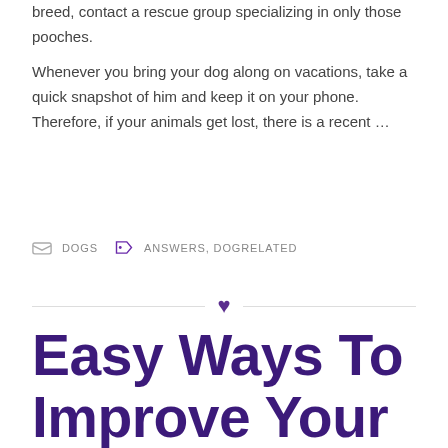breed, contact a rescue group specializing in only those pooches.
Whenever you bring your dog along on vacations, take a quick snapshot of him and keep it on your phone. Therefore, if your animals get lost, there is a recent …
DOGS   ANSWERS, DOGRELATED
Easy Ways To Improve Your Life With Your Dogs